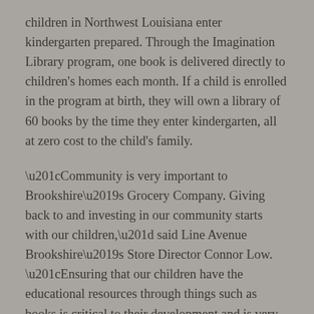children in Northwest Louisiana enter kindergarten prepared. Through the Imagination Library program, one book is delivered directly to children's homes each month. If a child is enrolled in the program at birth, they will own a library of 60 books by the time they enter kindergarten, all at zero cost to the child's family.
“Community is very important to Brookshire’s Grocery Company. Giving back to and investing in our community starts with our children,” said Line Avenue Brookshire’s Store Director Connor Low. “Ensuring that our children have the educational resources through things such as books is critical to their development and is very important to our hearts here at Brookshire’s.”
Every year, UWNWLA mails more than 40,000 books to children enrolled in the Imagination Library. Studios